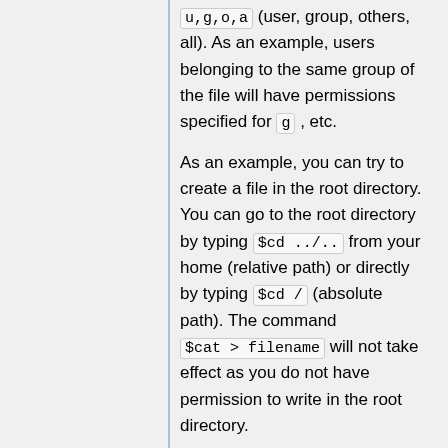u,g,o,a (user, group, others, all). As an example, users belonging to the same group of the file will have permissions specified for g , etc.
As an example, you can try to create a file in the root directory. You can go to the root directory by typing $cd ../.. from your home (relative path) or directly by typing $cd / (absolute path). The command $cat > filename will not take effect as you do not have permission to write in the root directory.
Exercise:
Create a file in your HOME directory, check out the permissions granted by default, and change them to make the file writable by all users.